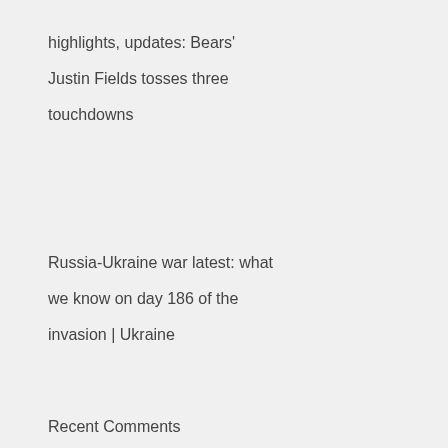highlights, updates: Bears' Justin Fields tosses three touchdowns
Russia-Ukraine war latest: what we know on day 186 of the invasion | Ukraine
Recent Comments